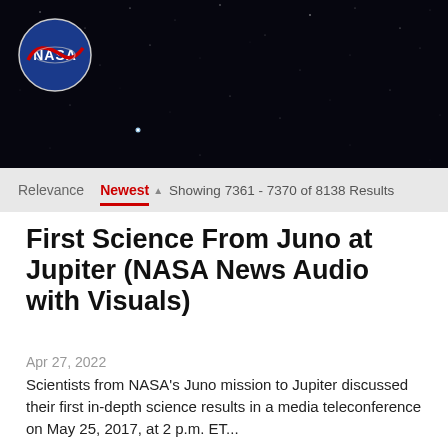[Figure (logo): NASA Science website header with NASA logo, 'NASA SCIENCE' title, 'SHARE THE SCIENCE' subtitle, hamburger menu icon, on a dark starfield background]
Relevance  Newest  Showing 7361 - 7370 of 8138 Results
First Science From Juno at Jupiter (NASA News Audio with Visuals)
Apr 27, 2022
Scientists from NASA's Juno mission to Jupiter discussed their first in-depth science results in a media teleconference on May 25, 2017, at 2 p.m. ET...